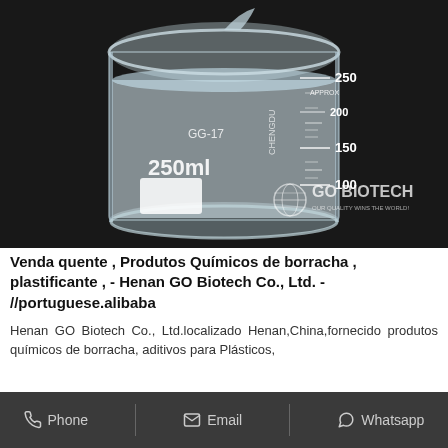[Figure (photo): Product photo of a 250ml glass laboratory beaker containing a clear liquid, placed on a dark background. The beaker shows volume markings at 100, 150, 200 (approx), and 250ml. Text on beaker reads GG-17 and CHENGDU. The GO BIOTECH logo with a globe icon is watermarked in the lower right of the image.]
Venda quente , Produtos Químicos de borracha , plastificante , - Henan GO Biotech Co., Ltd. - //portuguese.alibaba
Henan GO Biotech Co., Ltd.localizado Henan,China,fornecido produtos químicos de borracha, aditivos para Plásticos, alimentares, Aditivos cosméticos, RAM/RAC material de …
Phone   Email   Whatsapp